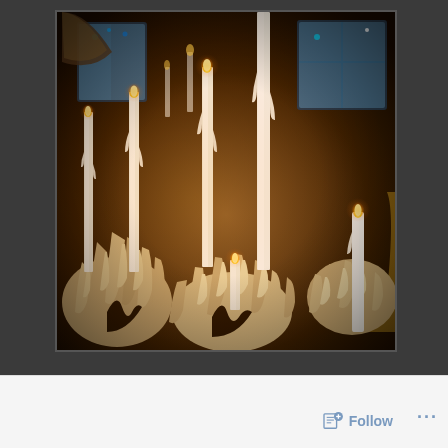[Figure (photo): A photograph of multiple lit white candles surrounded by large mounds of dripped and hardened wax, arranged on what appears to be a dark surface or candelabra. The scene is warmly lit with candlelight, and windows with exterior lights are visible in the background. The wax drippings have accumulated into tall, shaggy-looking formations around the candle bases.]
[Figure (other): A social media interface footer bar with a Follow button (with a plus icon and document/follow icon) in gray-blue color and a '...' more options button, on a light gray/white background.]